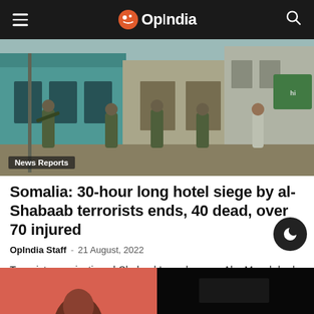OpIndia
[Figure (photo): Soldiers in military camouflage uniforms walking on a street in Somalia. A label 'News Reports' appears at the bottom left of the image.]
News Reports
Somalia: 30-hour long hotel siege by al-Shabaab terrorists ends, 40 dead, over 70 injured
OpIndia Staff – 21 August, 2022
Terrorist organization al-Shabaab's spokesman Abu Musab had said in a statement on Friday that over 20 people, including officials, were killed in the attack.
[Figure (photo): Two partial images at the bottom of the page: left shows a person's face against a red/pink background, right is a dark/black image.]